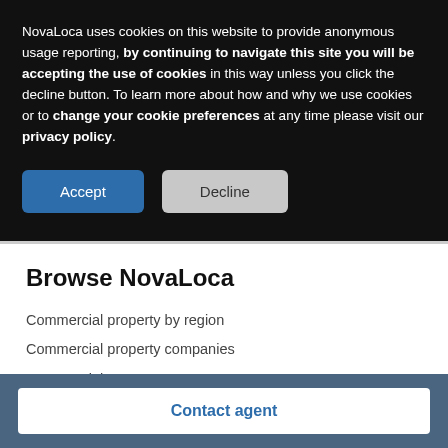NovaLoca uses cookies on this website to provide anonymous usage reporting, by continuing to navigate this site you will be accepting the use of cookies in this way unless you click the decline button. To learn more about how and why we use cookies or to change your cookie preferences at any time please visit our privacy policy.
[Figure (screenshot): Cookie consent banner with Accept and Decline buttons on dark background]
Browse NovaLoca
Commercial property by region
Commercial property companies
Commercial property agents
Business parks & industrial estates
Contact agent